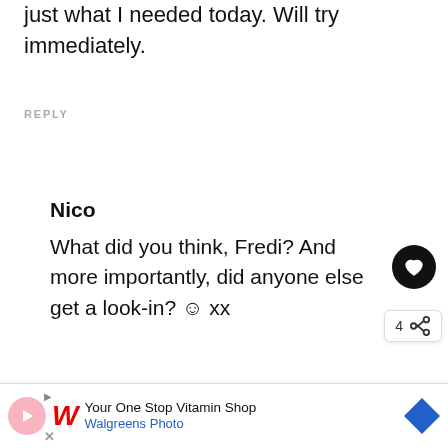just what I needed today. Will try immediately.
REPLY
Nico
What did you think, Fredi? And more importantly, did anyone else get a look-in? ☺ xx
REPLY
WHAT'S NEXT → Vegan Rice Cooker...
Your One Stop Vitamin Shop Walgreens Photo